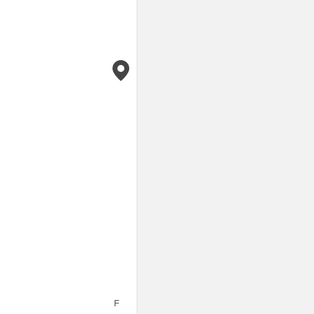[Figure (map): Map screenshot showing a location pin icon on a light gray map background, with a white panel on the left side. The text 'endale Heights, IL 60139' is displayed vertically along a vertical axis near the center-right of the image. A letter 'F' appears at the bottom near the pin area.]
endale Heights, IL 60139
F